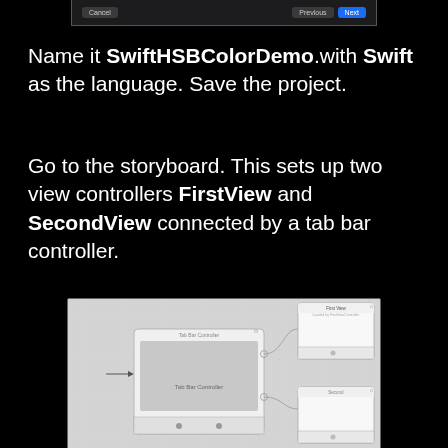[Figure (screenshot): Top portion of a dialog with Cancel, Previous, and Next buttons]
Name it SwiftHSBColorDemo.with Swift as the language. Save the project.
Go to the storyboard. This sets up two view controllers FirstView and SecondView connected by a tab bar controller.
[Figure (screenshot): Xcode storyboard showing a Tab Bar Controller connected to FirstView and another view controller]